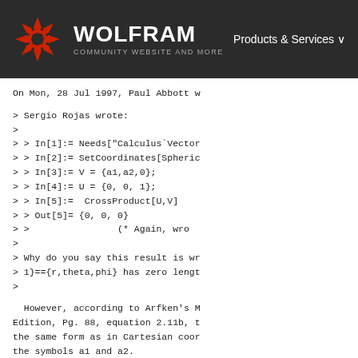[Figure (logo): Wolfram logo with red snowflake-star icon and white WOLFRAM text on dark background, with 'Products & Services' navigation item on the right]
On Mon, 28 Jul 1997, Paul Abbott w
> Sergio Rojas wrote:
>
> > In[1]:= Needs["Calculus`Vector
> > In[2]:= SetCoordinates[Spheric
> > In[3]:= V = {a1,a2,0};
> > In[4]:= U = {0, 0, 1};
> > In[5]:=  CrossProduct[U,V]
> > Out[5]= {0, 0, 0}
> >                 (* Again, wro
>
> Why do you say this result is wr
> 1}=={r,theta,phi} has zero lengt
>
However, according to Arfken's M
Edition, Pg. 88, equation 2.11b, t
the same form as in Cartesian coor
the symbols a1 and a2.
Rojas
E-mail: sergio at scisun.sci.ccny